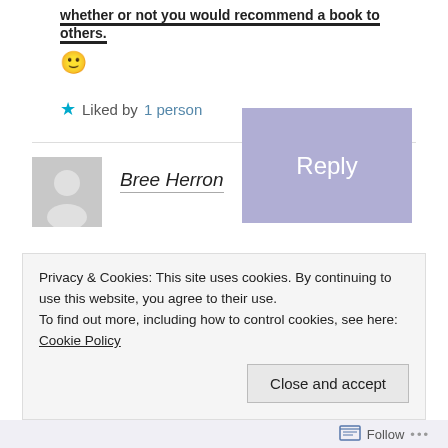whether or not you would recommend a book to others.
🙂
★ Liked by 1 person
Reply
Bree Herron
May 28, 2017 at 10:10 am
Privacy & Cookies: This site uses cookies. By continuing to use this website, you agree to their use.
To find out more, including how to control cookies, see here: Cookie Policy
Close and accept
Follow